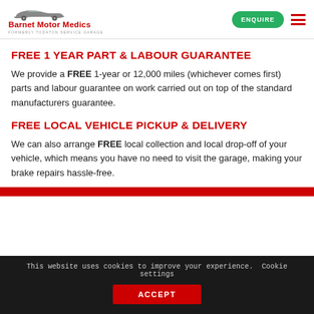[Figure (logo): Barnet Motor Medics logo with car silhouette and tagline 'Formerly Todaton Service Garage']
ENQUIRE (button) | Hamburger menu
FREE 1 YEAR PART & LABOUR GUARANTEE
We provide a FREE 1-year or 12,000 miles (whichever comes first) parts and labour guarantee on work carried out on top of the standard manufacturers guarantee.
FREE LOCAL VEHICLE PICKUP & DELIVERY
We can also arrange FREE local collection and local drop-off of your vehicle, which means you have no need to visit the garage, making your brake repairs hassle-free.
This website uses cookies to improve your experience.  Cookie settings  ACCEPT